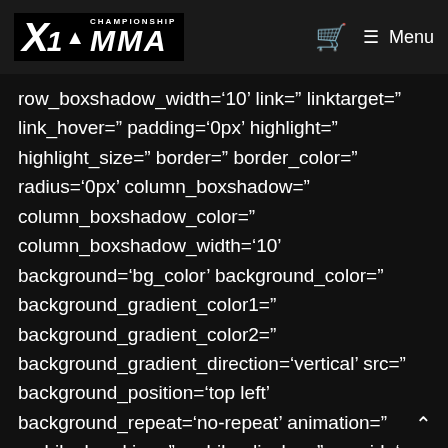X1 Championship MMA — Menu
row_boxshadow_width='10' link=" linktarget=" link_hover=" padding='0px' highlight=" highlight_size=" border=" border_color=" radius='0px' column_boxshadow=" column_boxshadow_color=" column_boxshadow_width='10' background='bg_color' background_color=" background_gradient_color1=" background_gradient_color2=" background_gradient_direction='vertical' src=" background_position='top left' background_repeat='no-repeat' animation=" mobile_breaking=" mobile_display=" av_uid='av-ukmvdu'] [av_video src='https://youtu.be/wI6qaDhXQuM'